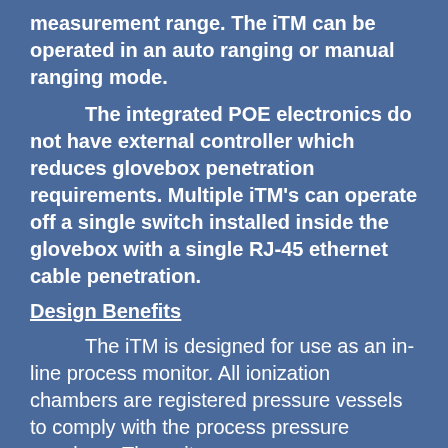measurement range.  The iTM can be operated in an auto ranging or manual ranging mode.
The integrated POE electronics do not have external controller which reduces glovebox penetration requirements.  Multiple iTM's can operate off a single switch installed inside the glovebox with a single RJ-45 ethernet cable penetration.
Design Benefits
The iTM is designed for use as an in-line process monitor.  All ionization chambers are registered pressure vessels to comply with the process pressure envelope.  The units are